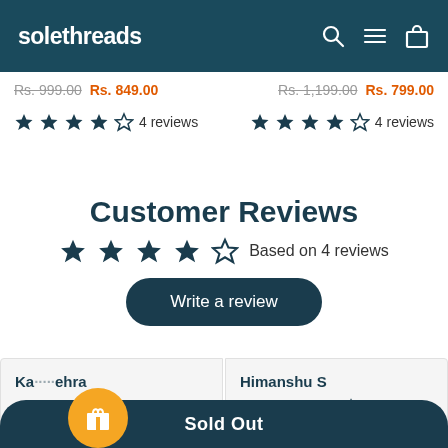solethreads
Rs. 999.00  Rs. 849.00   Rs. 1,199.00  Rs. 799.00
4 reviews   4 reviews
Customer Reviews
Based on 4 reviews
Write a review
Ka...ehra
Himanshu S
Sold Out